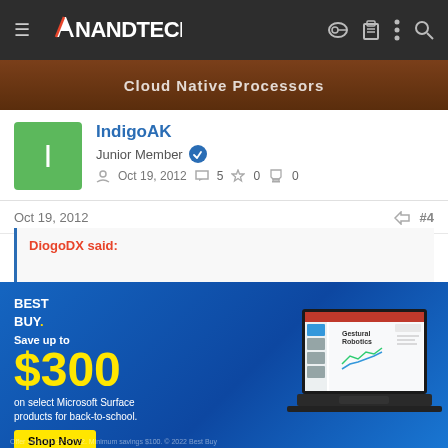AnandTech
[Figure (screenshot): Cloud Native Processors article banner image]
IndigoAK
Junior Member
Oct 19, 2012   5   0   0
Oct 19, 2012   #4
DiogoDX said:
[Figure (advertisement): Best Buy advertisement: Save up to $300 on select Microsoft Surface products for back-to-school. Shop Now button. Image of laptop showing PowerPoint presentation.]